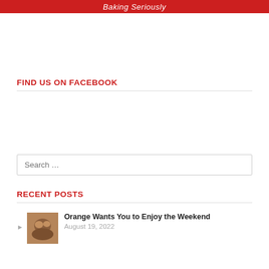Baking Seriously
FIND US ON FACEBOOK
Search …
RECENT POSTS
Orange Wants You to Enjoy the Weekend
August 19, 2022